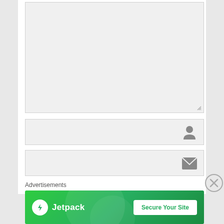[Figure (screenshot): Large gray textarea input field with a resize handle at the bottom-right corner]
[Figure (screenshot): Gray text input field with a person/user icon on the right side]
[Figure (screenshot): Gray email input field with an envelope icon on the right side]
Advertisements
[Figure (infographic): Jetpack advertisement banner with green background, Jetpack logo on left with lightning bolt icon, and a 'Secure Your Site' white button on the right]